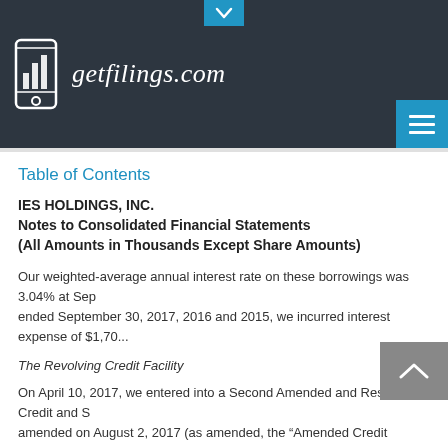getfilings.com
Table of Contents
IES HOLDINGS, INC.
Notes to Consolidated Financial Statements
(All Amounts in Thousands Except Share Amounts)
Our weighted-average annual interest rate on these borrowings was 3.04% at Sep... ended September 30, 2017, 2016 and 2015, we incurred interest expense of $1,70...
The Revolving Credit Facility
On April 10, 2017, we entered into a Second Amended and Restated Credit and S... amended on August 2, 2017 (as amended, the “Amended Credit Agreement”). Pu... amount increased from $70,000 to $100,000, and the maturity date of our revolvi...